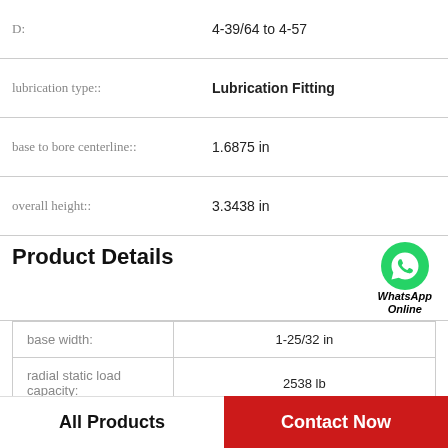| Property | Value |
| --- | --- |
| D: | 4-39/64 to 4-57 |
| lubrication type:: | Lubrication Fitting |
| base to bore centerline:: | 1.6875 in |
| overall height:: | 3.3438 in |
Product Details
| Property | Value |
| --- | --- |
| base width: | 1-25/32 in |
| radial static load capacity: | 2538 lb |
| series: | P2B |
|  |  |
All Products   Contact Now